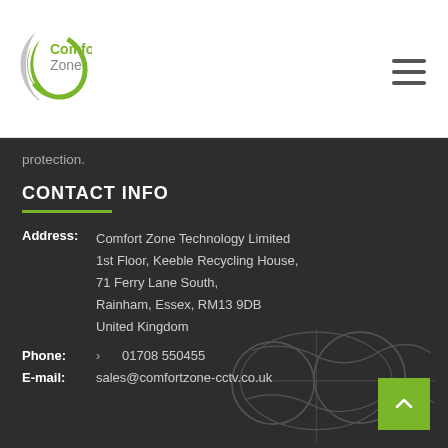[Figure (logo): Comfort Zone logo with green crescent and grey arc, text 'Comfort Zone' in green and grey]
protection.
CONTACT INFO
Address: Comfort Zone Technology Limited, 1st Floor, Keeble Recycling House, 71 Ferry Lane South, Rainham, Essex, RM13 9DB, United Kingdom
Phone: > 01708 550455
E-mail: sales@comfortzone-cctv.co.uk